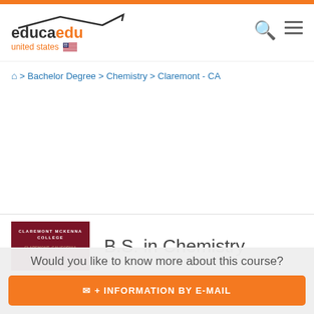[Figure (logo): educaedu united states logo with orange top bar, search icon and hamburger menu icon]
> Bachelor Degree > Chemistry > Claremont - CA
[Figure (logo): Claremont McKenna College dark red logo box with white text]
B.S. in Chemistry
School: Claremont McKenna College
Would you like to know more about this course?
+ INFORMATION BY E-MAIL